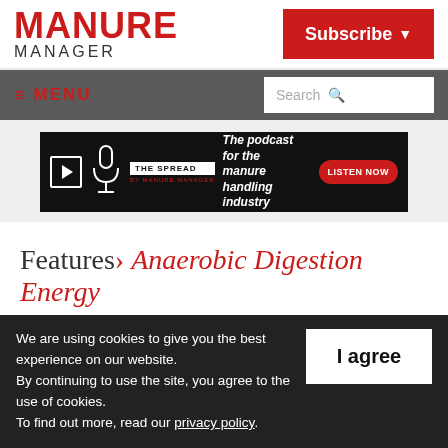MANURE MANAGER | Subscribe
≡ MENU | Search
[Figure (other): The Spread podcast banner ad: The podcast for the manure handling industry. Listen Now button.]
Features> Anaerobic Digestion Energy
We are using cookies to give you the best experience on our website. By continuing to use the site, you agree to the use of cookies. To find out more, read our privacy policy.